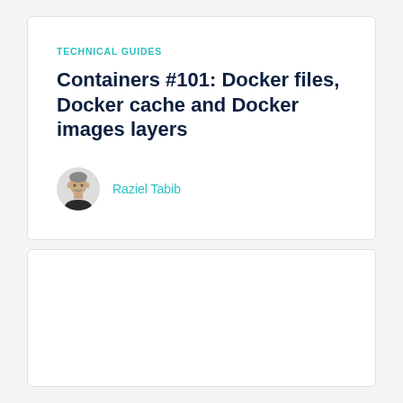TECHNICAL GUIDES
Containers #101: Docker files, Docker cache and Docker images layers
Raziel Tabib
[Figure (other): Empty white card placeholder at bottom of page]